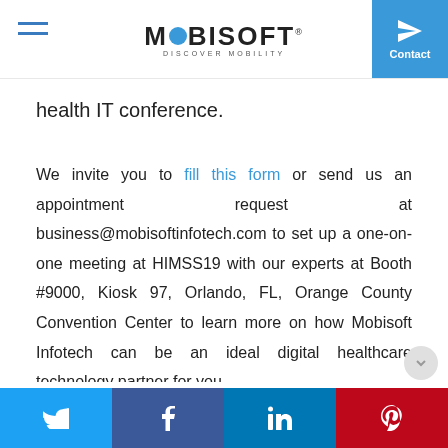MOBISOFT — DISCOVER MOBILITY
health IT conference.
We invite you to fill this form or send us an appointment request at business@mobisoftinfotech.com to set up a one-on-one meeting at HIMSS19 with our experts at Booth #9000, Kiosk 97, Orlando, FL, Orange County Convention Center to learn more on how Mobisoft Infotech can be an ideal digital healthcare technology partner for you.
Twitter | Facebook | LinkedIn | Pinterest